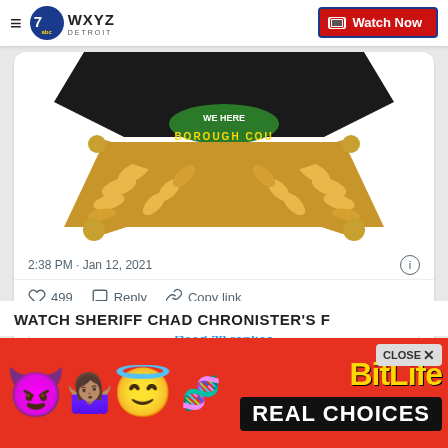WXYZ Detroit — Watch Now
[Figure (illustration): Partial view of a sheriff badge with gold crossed batons and partial text 'BOROUGH COU', black top portion visible, on white background]
2:38 PM · Jan 12, 2021
499  Reply  Copy link
Read 38 replies
WATCH SHERIFF CHAD CHRONISTER'S F
[Figure (infographic): BitLife advertisement banner with red background, devil emoji, woman emoji, angel emoji, sperm emoji, BitLife logo in gold text, and 'REAL CHOICES' text in white on black, with CLOSE button]